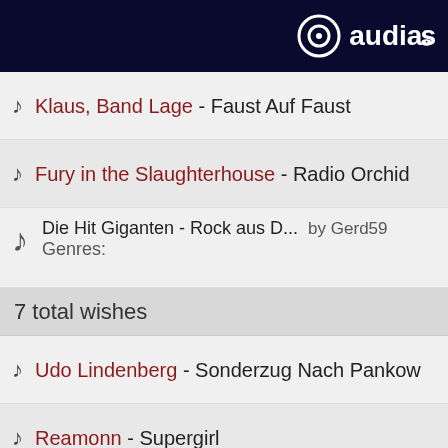audials
Klaus, Band Lage - Faust Auf Faust
Fury in the Slaughterhouse - Radio Orchid
Die Hit Giganten - Rock aus D... by Gerd59 Genres:
7 total wishes
Udo Lindenberg - Sonderzug Nach Pankow
Reamonn - Supergirl
Juli - Geile Zeit
Liquido - Narcotic
Klaus, Band Lage - Faust Auf Faust (partial)